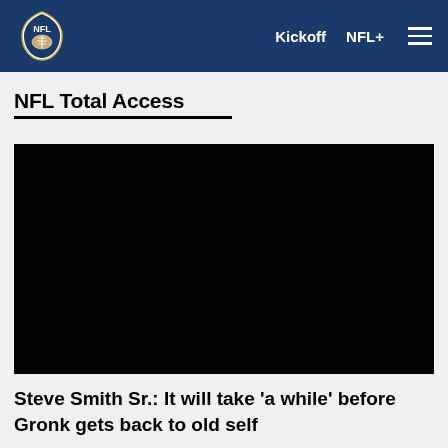NFL  Kickoff  NFL+
NFL Total Access
[Figure (photo): Black video player thumbnail for NFL Total Access segment]
Steve Smith Sr.: It will take 'a while' before Gronk gets back to old self